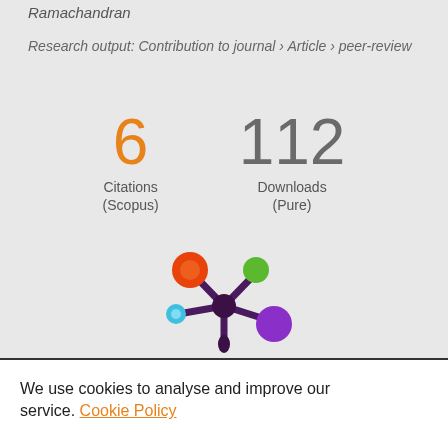Ramachandran
Research output: Contribution to journal › Article › peer-review
6 Citations (Scopus)
112 Downloads (Pure)
[Figure (logo): Altmetric/Pure logo — colorful circles connected by dark purple lines forming a star/asterisk shape, with orange, green, cyan, and purple circles]
Overview
Fingerprint
We use cookies to analyse and improve our service. Cookie Policy